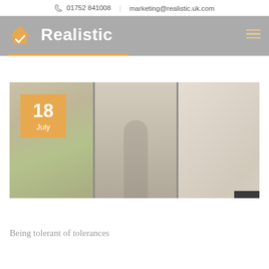📞 01752 841008 | marketing@realistic.uk.com
[Figure (logo): Realistic company logo with house checkmark icon and bold white text 'Realistic' on grey header background]
[Figure (photo): A woman opening a bi-fold or patio door in a modern home interior, man relaxing on sofa visible in background, date badge showing 18 July in orange]
Being tolerant of tolerances